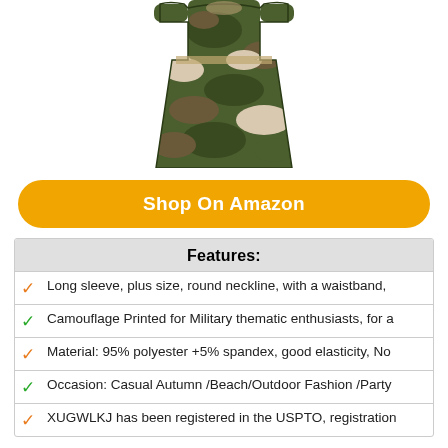[Figure (photo): Woman wearing a long-sleeve camouflage maxi dress with waistband, shown from chest down]
Shop On Amazon
| Features: |
| --- |
| Long sleeve, plus size, round neckline, with a waistband, |
| Camouflage Printed for Military thematic enthusiasts, for a |
| Material: 95% polyester +5% spandex, good elasticity, No |
| Occasion: Casual Autumn /Beach/Outdoor Fashion /Party |
| XUGWLKJ has been registered in the USPTO, registration |
8. WOMEN'S CAMOUFLAGE CLOTHING POCKETS PULLOVER HOODIE SWEATSHIRT